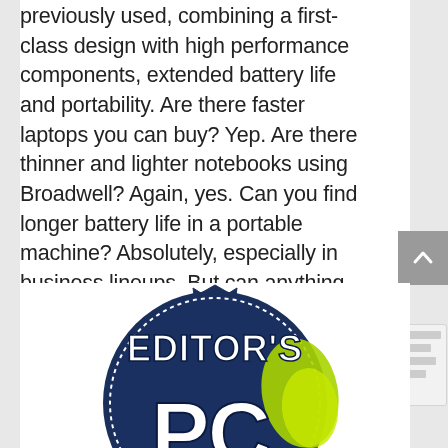previously used, combining a first-class design with high performance components, extended battery life and portability. Are there faster laptops you can buy? Yep. Are there thinner and lighter notebooks using Broadwell? Again, yes. Can you find longer battery life in a portable machine? Absolutely, especially in business lineups. But can anything else claim to meld all of these points together with the best trade-offs possible, as the Dell XPS 13 does? I don't believe so, but I'd love to be proven wrong.
[Figure (logo): Editor's Choice award badge — circular dark navy blue badge with gear-tooth border, white bold text reading EDITOR'S, large letters below partially visible, yellow-green accent shapes at right side]